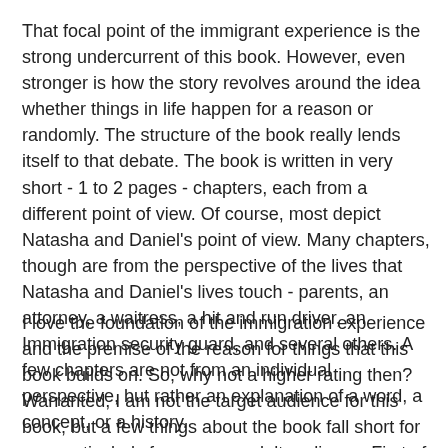That focal point of the immigrant experience is the strong undercurrent of this book. However, even stronger is how the story revolves around the idea whether things in life happen for a reason or randomly. The structure of the book really lends itself to that debate. The book is written in very short - 1 to 2 pages - chapters, each from a different point of view. Of course, most depict Natasha and Daniel's point of view. Many chapters, though are from the perspective of the lives that Natasha and Daniel's lives touch - parents, an attorney, a waitress, a hit and run driver, an Immigration security guard, and several others. A few chapters are not from an individual perspective, but rather an explanation of a word, a concept, or a history.
I love the foundation of the immigration experience and the premise of the reason for things that this book builds on. So, why not a higher rating then? Warranted, I am not the target audience for this book, but a few things about the book fall short for me, particularly for a young adult audience. First of all, this is an insta-love-story. Daniel and Natasha's relationship goes from just meeting to eternal love in less